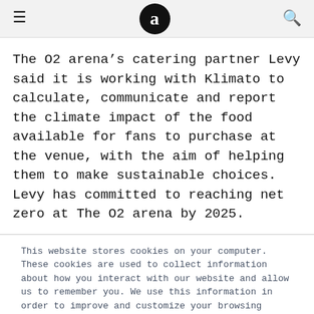≡  a  🔍
The O2 arena's catering partner Levy said it is working with Klimato to calculate, communicate and report the climate impact of the food available for fans to purchase at the venue, with the aim of helping them to make sustainable choices. Levy has committed to reaching net zero at The O2 arena by 2025.
This website stores cookies on your computer. These cookies are used to collect information about how you interact with our website and allow us to remember you. We use this information in order to improve and customize your browsing experience and for analytics and metrics about our visitors both on this website and other media. To find out more about the cookies we use, see our Privacy Policy
Accept